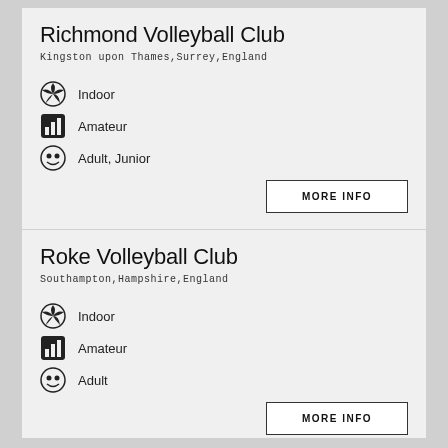Richmond Volleyball Club
Kingston upon Thames,Surrey,England
Indoor
Amateur
Adult, Junior
Roke Volleyball Club
Southampton,Hampshire,England
Indoor
Amateur
Adult